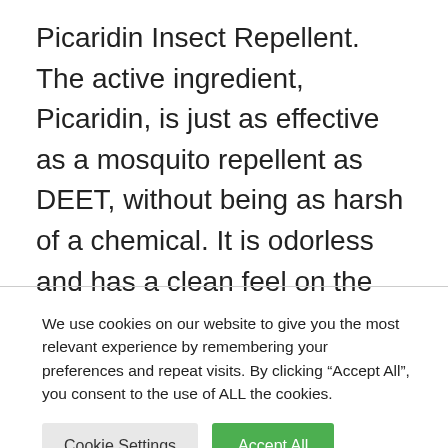Picaridin Insect Repellent. The active ingredient, Picaridin, is just as effective as a mosquito repellent as DEET, without being as harsh of a chemical. It is odorless and has a clean feel on the skin. Still, personal preference and intended use may influence which type of repellent you use and if our top pick is the best option for you.
We use cookies on our website to give you the most relevant experience by remembering your preferences and repeat visits. By clicking “Accept All”, you consent to the use of ALL the cookies.